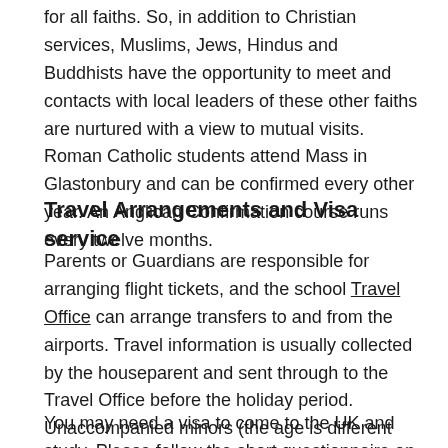for all faiths. So, in addition to Christian services, Muslims, Jews, Hindus and Buddhists have the opportunity to meet and contacts with local leaders of these other faiths are nurtured with a view to mutual visits. Roman Catholic students attend Mass in Glastonbury and can be confirmed every other year. An Anglican Confirmation course runs every twelve months.
Travel Arrangements and Visa service
Parents or Guardians are responsible for arranging flight tickets, and the school Travel Office can arrange transfers to and from the airports. Travel information is usually collected by the houseparent and sent through to the Travel Office before the holiday period. Unaccompanied minors (the age is different and dependant on individual airline rules) can be accommodated if this is indicated at the time the travel request is submitted.
You may need a visa to come to the UK and study. Please follow the short questionnaire on the Government website to